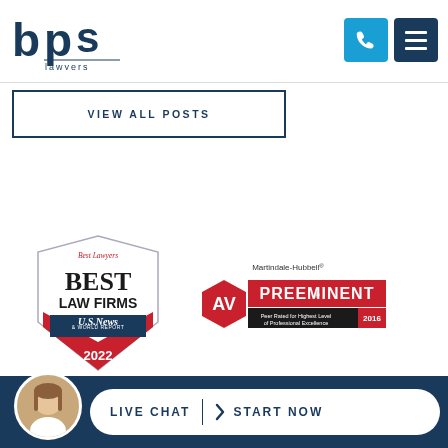[Figure (logo): BPS Lawyers logo — stylized lowercase 'bps' in dark navy blue with the word 'lawyers' beneath]
[Figure (logo): Phone icon button (blue) and hamburger menu icon button (dark navy) in top right]
VIEW ALL POSTS
[Figure (logo): Best Lawyers Best Law Firms U.S. News 2022 badge/shield]
[Figure (logo): Martindale-Hubbell AV Preeminent Peer Rated for Highest Level of Professional Excellence 2016 badge]
LIVE CHAT  START NOW